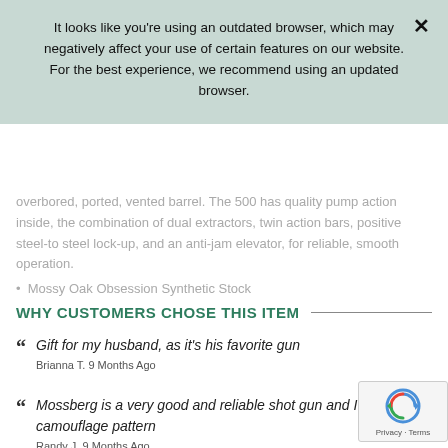It looks like you're using an outdated browser, which may negatively affect your use of certain features on our website. For the best experience, we recommend using an updated browser.
overbored, ported, vented barrel. The 500 has quality pump action inside, the combination of dual extractors, twin action bars, positive steel-to steel lock-up, and an anti-jam elevator, for reliable, smooth operation.
Mossy Oak Obsession Synthetic Stock
WHY CUSTOMERS CHOSE THIS ITEM
Gift for my husband, as it's his favorite gun
Brianna T. 9 Months Ago
Mossberg is a very good and reliable shot gun and I like the camouflage pattern
Randy J. 9 Months Ago
Turkey hunting